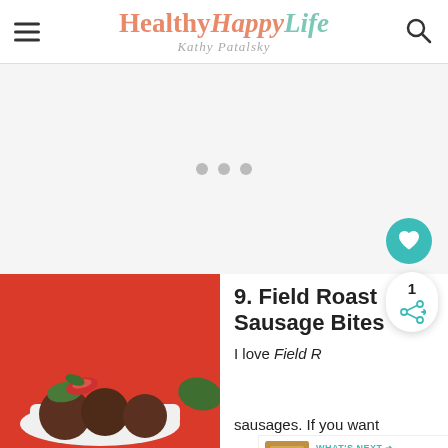HealthyHappyLife — Kathy Patalsky
[Figure (other): Slider/carousel placeholder area with three grey navigation dots on light grey background]
[Figure (photo): Photo of Field Roast Sausage Bites on a white plate against a red background, garnished with basil and tomato]
9. Field Roast Sausage Bites
I love Field Roast sausages. If you want